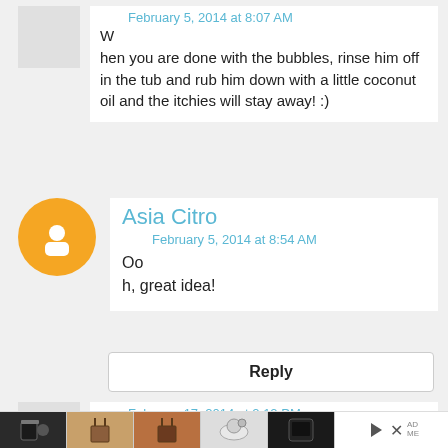February 5, 2014 at 8:07 AM
When you are done with the bubbles, rinse him off in the tub and rub him down with a little coconut oil and the itchies will stay away! :)
Asia Citro
February 5, 2014 at 8:54 AM
Ooh, great idea!
Reply
February 17, 2014 at 2:12 PM
[Figure (infographic): Advertisement banner with product images at the bottom of the page]